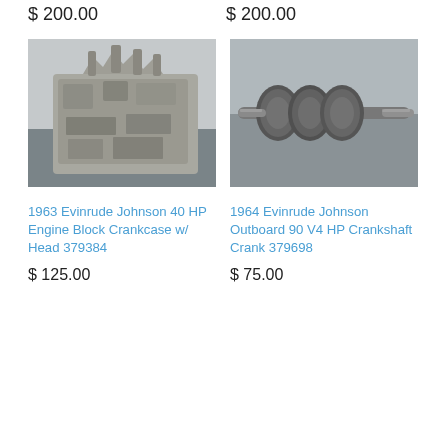$ 200.00
$ 200.00
[Figure (photo): Used Evinrude Johnson 40 HP engine block crankcase with head, part number 379384, shown on a dark surface]
[Figure (photo): Used Evinrude Johnson 90 V4 HP crankshaft crank, part number 379698, shown on a gray surface]
1963 Evinrude Johnson 40 HP Engine Block Crankcase w/ Head 379384
1964 Evinrude Johnson Outboard 90 V4 HP Crankshaft Crank 379698
$ 125.00
$ 75.00